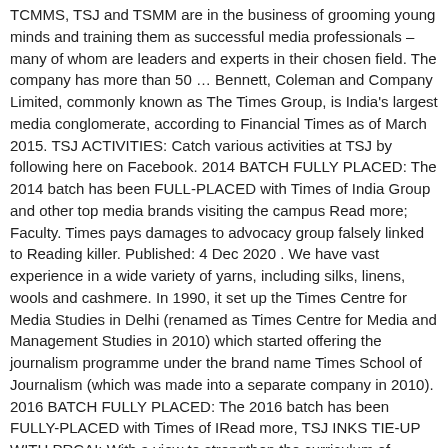TCMMS, TSJ and TSMM are in the business of grooming young minds and training them as successful media professionals – many of whom are leaders and experts in their chosen field. The company has more than 50 … Bennett, Coleman and Company Limited, commonly known as The Times Group, is India's largest media conglomerate, according to Financial Times as of March 2015. TSJ ACTIVITIES: Catch various activities at TSJ by following here on Facebook. 2014 BATCH FULLY PLACED: The 2014 batch has been FULL-PLACED with Times of India Group and other top media brands visiting the campus Read more; Faculty. Times pays damages to advocacy group falsely linked to Reading killer. Published: 4 Dec 2020 . We have vast experience in a wide variety of yarns, including silks, linens, wools and cashmere. In 1990, it set up the Times Centre for Media Studies in Delhi (renamed as Times Centre for Media and Management Studies in 2010) which started offering the journalism programme under the brand name Times School of Journalism (which was made into a separate company in 2010). 2016 BATCH FULLY PLACED: The 2016 batch has been FULLY-PLACED with Times of IRead more, TSJ INKS TIE-UP WITH PRCAI: With a view to strengthen the curriculum of Applied Communication, TSJ has tied with Public Relations CoRead more, CLASS OF 2015 GETS FULL PLACEMENT: The placement exercise for